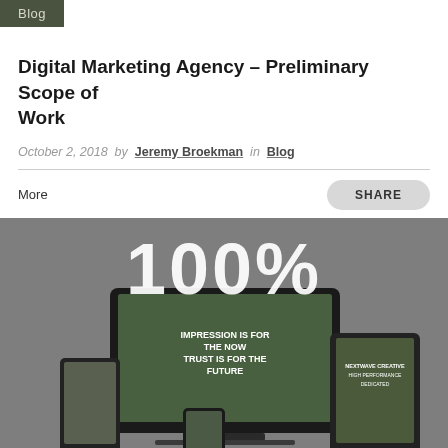Blog
Digital Marketing Agency – Preliminary Scope of Work
October 2, 2018  by  Jeremy Broekman  in  Blog
More
SHARE
[Figure (screenshot): Website mockup showing multiple devices (laptop, tablet, phone) displaying a digital marketing agency website with text 'IMPRESSION IS FOR THE NOW TRUST IS FOR THE FUTURE'. A large '100%' text overlay appears on the image.]